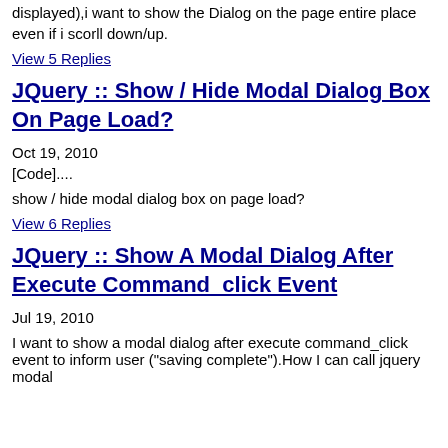displayed),i want to show the Dialog on the page entire place even if i scorll down/up.
View 5 Replies
JQuery :: Show / Hide Modal Dialog Box On Page Load?
Oct 19, 2010
[Code]....
show / hide modal dialog box on page load?
View 6 Replies
JQuery :: Show A Modal Dialog After Execute Command_click Event
Jul 19, 2010
I want to show a modal dialog after execute command_click event to inform user ("saving complete").How I can call jquery modal